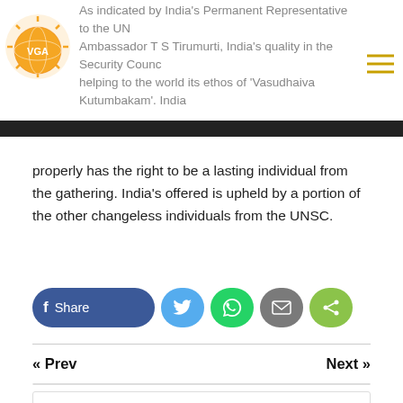As indicated by India's Permanent Representative to the UN Ambassador T S Tirumurti, India's quality in the Security Council helping to the world its ethos of 'Vasudhaiva Kutumbakam'. India
properly has the right to be a lasting individual from the gathering. India's offered is upheld by a portion of the other changeless individuals from the UNSC.
[Figure (other): Social share buttons: Facebook Share, Twitter, WhatsApp, Email, and general Share]
« Prev    Next »
Search.....